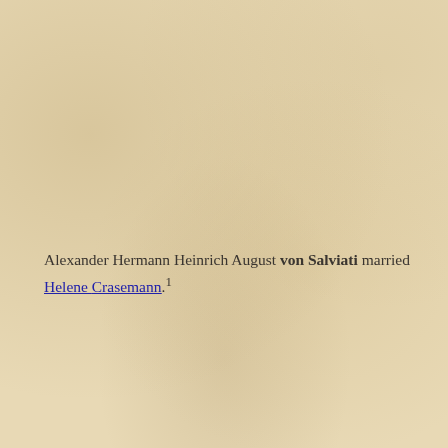Alexander Hermann Heinrich August von Salviati married Helene Crasemann.1